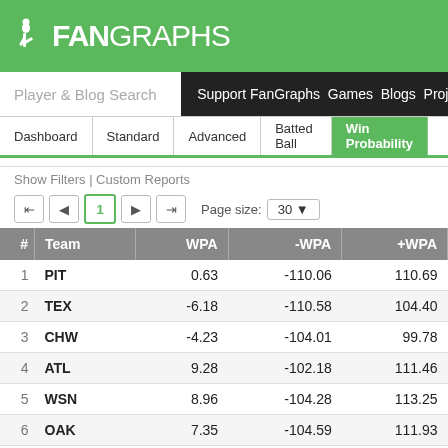FanGraphs
Player & Blog Search | Support FanGraphs Games Blogs Projections
Dashboard | Standard | Advanced | Batted Ball | Win Probability
Show Filters | Custom Reports
| # | Team | WPA | -WPA | +WPA |
| --- | --- | --- | --- | --- |
| 1 | PIT | 0.63 | -110.06 | 110.69 |
| 2 | TEX | -6.18 | -110.58 | 104.40 |
| 3 | CHW | -4.23 | -104.01 | 99.78 |
| 4 | ATL | 9.28 | -102.18 | 111.46 |
| 5 | WSN | 8.96 | -104.28 | 113.25 |
| 6 | OAK | 7.35 | -104.59 | 111.93 |
| 7 | LAD | 14.16 | -102.64 | 116.79 |
| 8 | NYY | 13.06 | -97.34 | 110.39 |